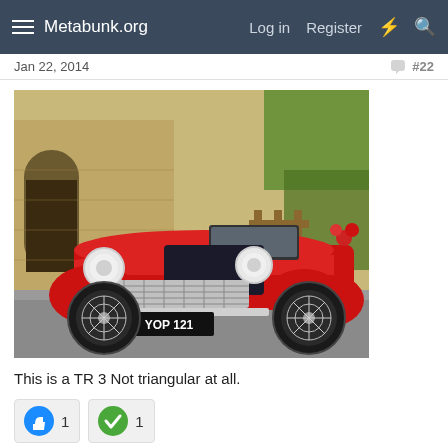Metabunk.org  Log in  Register
Jan 22, 2014  #22
[Figure (photo): A red classic Triumph TR3 sports car with wire wheels, open-top convertible, license plate YOP 121, parked on a driveway in front of a stone building.]
This is a TR 3 Not triangular at all.
👍 1  ✓ 1
Bill